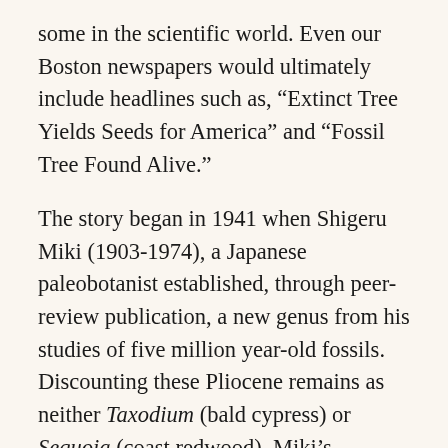some in the scientific world. Even our Boston newspapers would ultimately include headlines such as, “Extinct Tree Yields Seeds for America” and “Fossil Tree Found Alive.”
The story began in 1941 when Shigeru Miki (1903-1974), a Japanese paleobotanist established, through peer-review publication, a new genus from his studies of five million year-old fossils. Discounting these Pliocene remains as neither Taxodium (bald cypress) or Sequoia (coast redwood), Miki’s research established the new genus